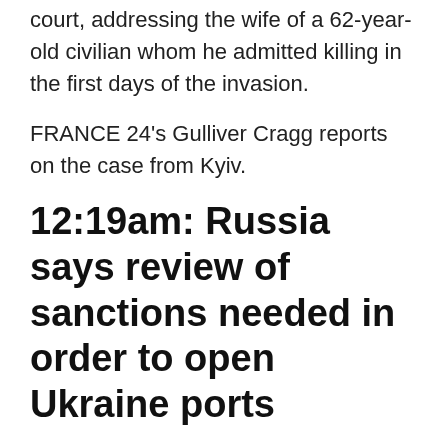court, addressing the wife of a 62-year-old civilian whom he admitted killing in the first days of the invasion.
FRANCE 24's Gulliver Cragg reports on the case from Kyiv.
12:19am: Russia says review of sanctions needed in order to open Ukraine ports
Russia's Foreign Ministry said on Thursday that if it were to heed a United Nations...